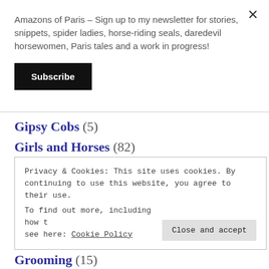Amazons of Paris – Sign up to my newsletter for stories, snippets, spider ladies, horse-riding seals, daredevil horsewomen, Paris tales and a work in progress!
Subscribe
Gipsy Cobs (5)
Girls and Horses (82)
Gloucestershire (3)
Privacy & Cookies: This site uses cookies. By continuing to use this website, you agree to their use.
To find out more, including how to control cookies, see here: Cookie Policy
Close and accept
Grooming (15)